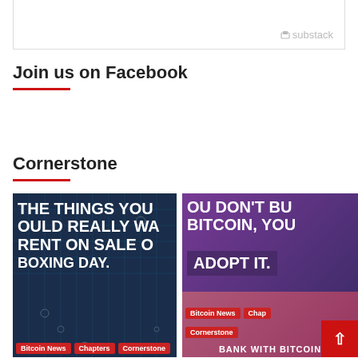[Figure (screenshot): Top portion of a Substack subscription box with substack logo in grey]
substack
Join us on Facebook
Cornerstone
[Figure (photo): Image with dark blue background and large white text reading 'THE THINGS YOU OULD REALLY WA RENT ON SALE O BOXING DAY.' with tags: Bitcoin News, Chapters, Cornerstone]
[Figure (photo): Image with purple/pink background and large white text reading 'OU DON'T BU BITCOIN, YOU ADOPT IT.' with tags: Bitcoin News, Chap, Cornerstone and a scroll-to-top red button]